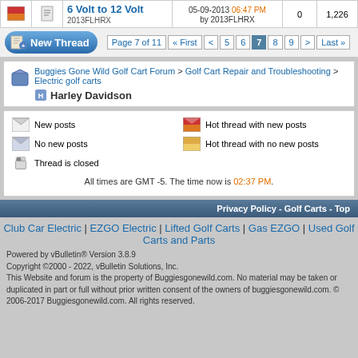|  |  | Thread | Date/Author | Replies | Views |
| --- | --- | --- | --- | --- | --- |
|  |  | 6 Volt to 12 Volt
2013FLHRX | 05-09-2013 06:47 PM
by 2013FLHRX | 0 | 1,226 |
Page 7 of 11  « First  <  5  6  7  8  9  >  Last »
Buggies Gone Wild Golf Cart Forum > Golf Cart Repair and Troubleshooting > Electric golf carts
Harley Davidson
New posts
Hot thread with new posts
No new posts
Hot thread with no new posts
Thread is closed
All times are GMT -5. The time now is 02:37 PM.
Privacy Policy - Golf Carts - Top
Club Car Electric | EZGO Electric | Lifted Golf Carts | Gas EZGO | Used Golf Carts and Parts
Powered by vBulletin® Version 3.8.9
Copyright ©2000 - 2022, vBulletin Solutions, Inc.
This Website and forum is the property of Buggiesgonewild.com. No material may be taken or duplicated in part or full without prior written consent of the owners of buggiesgonewild.com. © 2006-2017 Buggiesgonewild.com. All rights reserved.